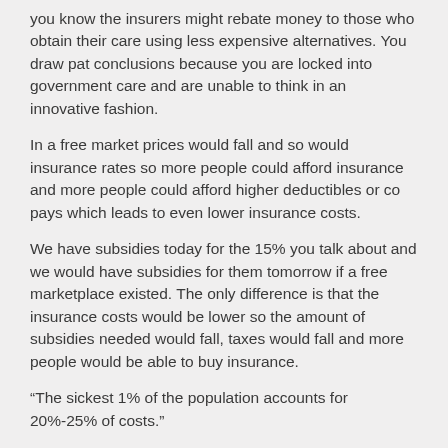you know the insurers might rebate money to those who obtain their care using less expensive alternatives. You draw pat conclusions because you are locked into government care and are unable to think in an innovative fashion.
In a free market prices would fall and so would insurance rates so more people could afford insurance and more people could afford higher deductibles or co pays which leads to even lower insurance costs.
We have subsidies today for the 15% you talk about and we would have subsidies for them tomorrow if a free marketplace existed. The only difference is that the insurance costs would be lower so the amount of subsidies needed would fall, taxes would fall and more people would be able to buy insurance.
“The sickest 1% of the population accounts for 20%-25% of costs.”
This may be true but demonstrates that you do not understand the economics of healthcare. Many of the sickest people are not the sickest people the following year. What we are really talking about are the known high cost individuals and the unknown